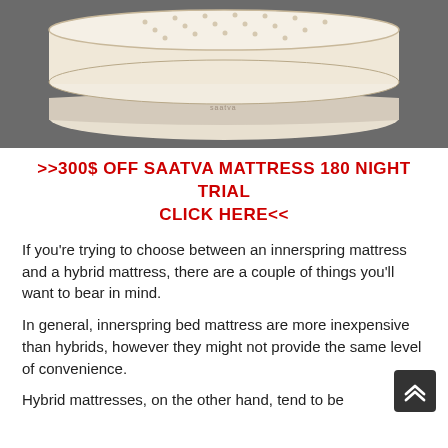[Figure (photo): A white Saatva mattress photographed against a dark gray background, shown at an angle from above.]
>>300$ OFF SAATVA MATTRESS 180 NIGHT TRIAL CLICK HERE<<
If you're trying to choose between an innerspring mattress and a hybrid mattress, there are a couple of things you'll want to bear in mind.
In general, innerspring bed mattress are more inexpensive than hybrids, however they might not provide the same level of convenience.
Hybrid mattresses, on the other hand, tend to be